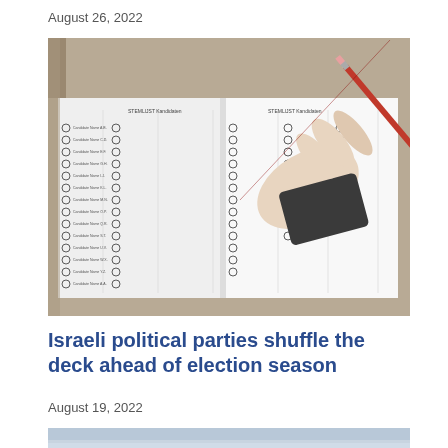August 26, 2022
[Figure (photo): A hand holding a red pencil over an open election ballot booklet with multiple columns of candidates and checkbox circles]
Israeli political parties shuffle the deck ahead of election season
August 19, 2022
[Figure (photo): Partial view of another image at bottom of page, appears to show a sky scene]